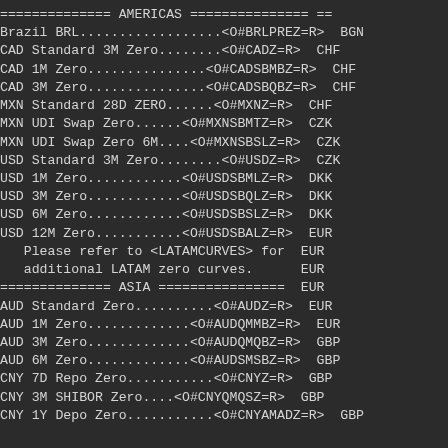============== AMERICAS =============== ==
Brazil BRL...................<O#BRLPREZ=R>  BGN
CAD Standard 3M Zero........<O#CADZ=R>  CHF
CAD 1M Zero.................<O#CADSBMBZ=R>  CHF
CAD 3M Zero.................<O#CADSBQBZ=R>  CHF
MXN Standard 28D ZERO.......<O#MXNZ=R>  CHF
MXN UDI Swap Zero.......<O#MXNSBMTZ=R>  CZK
MXN UDI Swap Zero 6M....<O#MXNSBSLZ=R>  CZK
USD Standard 3M Zero........<O#USDZ=R>  CZK
USD 1M Zero.............<O#USDSBMLZ=R>  DKK
USD 3M Zero.............<O#USDSBQLZ=R>  DKK
USD 6M Zero.............<O#USDSBSLZ=R>  DKK
USD 12M Zero............<O#USDSBALZ=R>  EUR
Please refer to <LATAMCURVES> for  EUR
   additional LATAM zero curves.  EUR
============== ASIA ===============  EUR
AUD Standard Zero...........<O#AUDZ=R>  EUR
AUD 1M Zero.................<O#AUDQMMBZ=R>  EUR
AUD 3M Zero.................<O#AUDQMQBZ=R>  EUR
AUD 6M Zero.................<O#AUDSMSBZ=R>  GBP
CNY 7D Repo Zero............<O#CNYZ=R>  GBP
CNY 3M SHIBOR Zero......<O#CNYQMQSZ=R>  GBP
CNY 1Y Depo Zero............<O#CNYAMADZ=R>  GBP